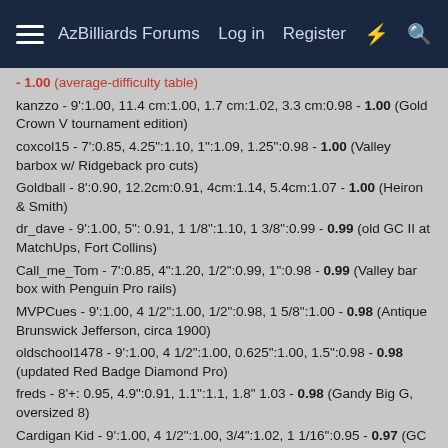AzBilliards Forums   Log in   Register
- 1.00 (average-difficulty table)
kanzzo - 9':1.00, 11.4 cm:1.00, 1.7 cm:1.02, 3.3 cm:0.98 - 1.00 (Gold Crown V tournament edition)
coxcol15 - 7':0.85, 4.25":1.10, 1":1.09, 1.25":0.98 - 1.00 (Valley barbox w/ Ridgeback pro cuts)
Goldball - 8':0.90, 12.2cm:0.91, 4cm:1.14, 5.4cm:1.07 - 1.00 (Heiron & Smith)
dr_dave - 9':1.00, 5": 0.91, 1 1/8":1.10, 1 3/8":0.99 - 0.99 (old GC II at MatchUps, Fort Collins)
Call_me_Tom - 7':0.85, 4":1.20, 1/2":0.99, 1":0.98 - 0.99 (Valley bar box with Penguin Pro rails)
MVPCues - 9':1.00, 4 1/2":1.00, 1/2":0.98, 1 5/8":1.00 - 0.98 (Antique Brunswick Jefferson, circa 1900)
oldschool1478 - 9':1.00, 4 1/2":1.00, 0.625":1.00, 1.5":0.98 - 0.98 (updated Red Badge Diamond Pro)
freds - 8'+: 0.95, 4.9":0.91, 1.1":1.1, 1.8" 1.03 - 0.98 (Gandy Big G, oversized 8)
Cardigan Kid - 9':1.00, 4 1/2":1.00, 3/4":1.02, 1 1/16":0.95 - 0.97 (GC III Table 7 at Premium Billiards, Syracuse, Mark Gregory-